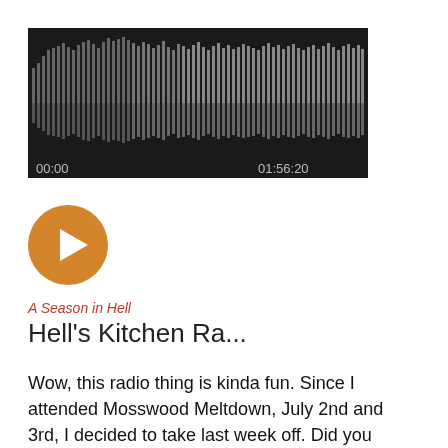[Figure (other): Audio waveform player widget showing a bar waveform with timestamps 00:00 and 01:56:20 on a dark background]
[Figure (other): Orange circular play button with white triangle play icon]
A Season in Hell
Hell's Kitchen Ra...
Wow, this radio thing is kinda fun. Since I attended Mosswood Meltdown, July 2nd and 3rd, I decided to take last week off. Did you miss me? What do you mean no?
Taking a week off means that I have even more new music to share with you this